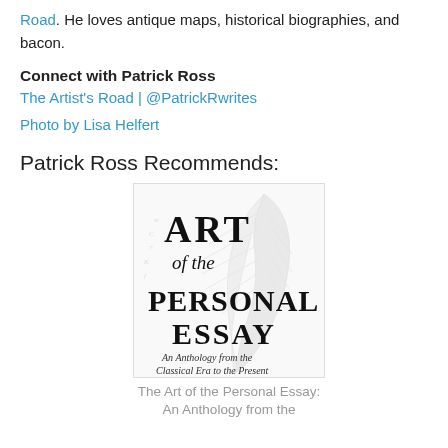Road. He loves antique maps, historical biographies, and bacon.
Connect with Patrick Ross
The Artist's Road | @PatrickRwrites
Photo by Lisa Helfert
Patrick Ross Recommends:
[Figure (illustration): Book cover of 'Art of the Personal Essay: An Anthology from the Classical Era to the Present' featuring large serif title text and a watermark feather/quill illustration in the background.]
The Art of the Personal Essay: An Anthology from the